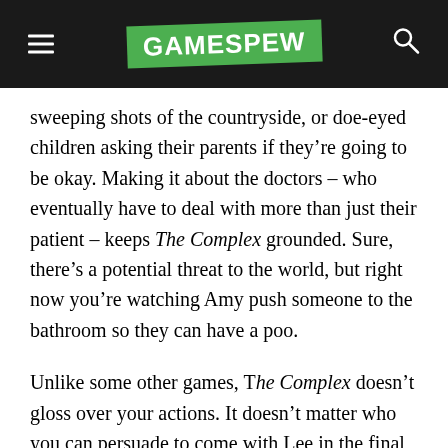GAMESPEW
sweeping shots of the countryside, or doe-eyed children asking their parents if they’re going to be okay. Making it about the doctors – who eventually have to deal with more than just their patient – keeps The Complex grounded. Sure, there’s a potential threat to the world, but right now you’re watching Amy push someone to the bathroom so they can have a poo.
Unlike some other games, The Complex doesn’t gloss over your actions. It doesn’t matter who you can persuade to come with Lee in the final chapter of Telltale’s The Walking Dead – his fate never changes; your choices simply don’t matter. That’s not the case